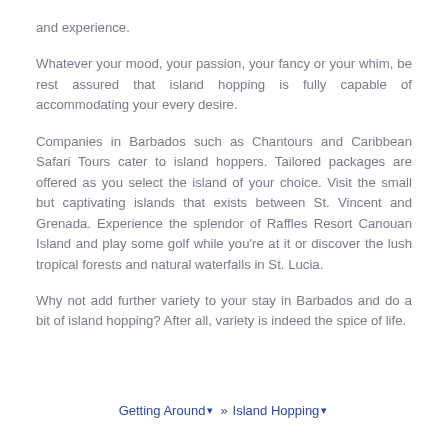and experience.
Whatever your mood, your passion, your fancy or your whim, be rest assured that island hopping is fully capable of accommodating your every desire.
Companies in Barbados such as Chantours and Caribbean Safari Tours cater to island hoppers. Tailored packages are offered as you select the island of your choice. Visit the small but captivating islands that exists between St. Vincent and Grenada. Experience the splendor of Raffles Resort Canouan Island and play some golf while you're at it or discover the lush tropical forests and natural waterfalls in St. Lucia.
Why not add further variety to your stay in Barbados and do a bit of island hopping? After all, variety is indeed the spice of life.
Getting Around » Island Hopping